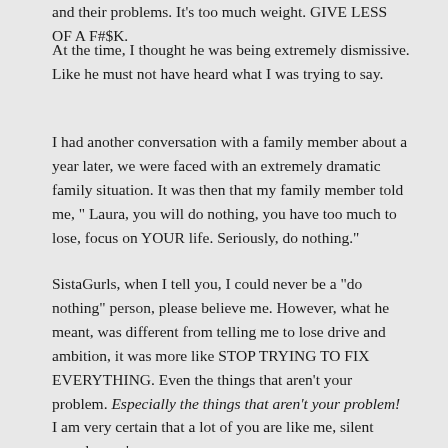and their problems. It's too much weight. GIVE LESS OF A F#$K.
At the time, I thought he was being extremely dismissive. Like he must not have heard what I was trying to say.
I had another conversation with a family member about a year later, we were faced with an extremely dramatic family situation. It was then that my family member told me, " Laura, you will do nothing, you have too much to lose, focus on YOUR life. Seriously, do nothing."
SistaGurls, when I tell you, I could never be a "do nothing" person, please believe me. However, what he meant, was different from telling me to lose drive and ambition, it was more like STOP TRYING TO FIX EVERYTHING. Even the things that aren't your problem. Especially the things that aren't your problem!
I am very certain that a lot of you are like me, silent superheroes'